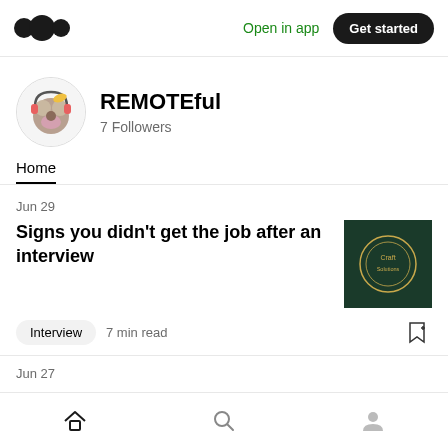Open in app   Get started
[Figure (logo): Medium logo - two overlapping circles]
REMOTEful
7 Followers
Home
Jun 29
Signs you didn't get the job after an interview
[Figure (photo): Dark green square thumbnail with circular golden logo text]
Interview   7 min read
Jun 27
Home   Search   Profile